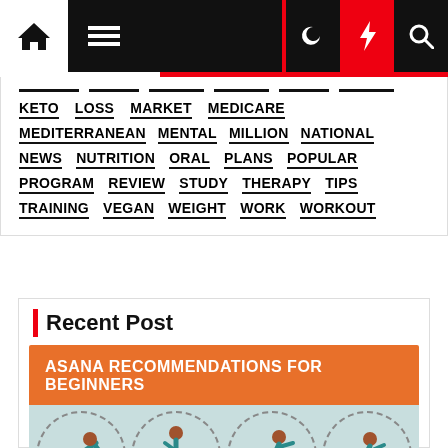Navigation bar with home, menu, moon, bolt, and search icons
KETO LOSS MARKET MEDICARE
MEDITERRANEAN MENTAL MILLION NATIONAL
NEWS NUTRITION ORAL PLANS POPULAR
PROGRAM REVIEW STUDY THERAPY TIPS
TRAINING VEGAN WEIGHT WORK WORKOUT
Recent Post
[Figure (infographic): Asana Recommendations for Beginners banner with orange background and four yoga pose illustration circles below on light teal background]